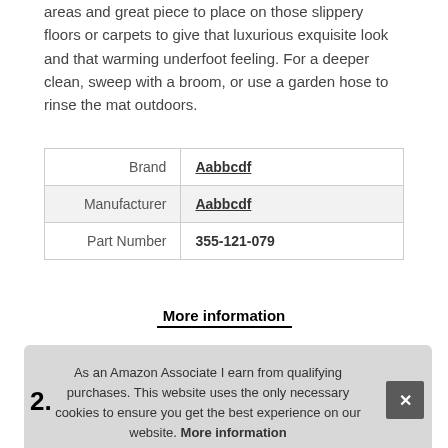and anti-slip, which is 100 friendly, perfect for those high traffic areas and great piece to place on those slippery floors or carpets to give that luxurious exquisite look and that warming underfoot feeling. For a deeper clean, sweep with a broom, or use a garden hose to rinse the mat outdoors.
| Brand | Aabbcdf |
| Manufacturer | Aabbcdf |
| Part Number | 355-121-079 |
More information
As an Amazon Associate I earn from qualifying purchases. This website uses the only necessary cookies to ensure you get the best experience on our website. More information
2.